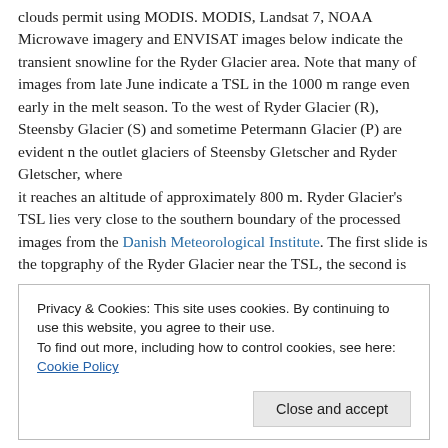clouds permit using MODIS. MODIS, Landsat 7, NOAA Microwave imagery and ENVISAT images below indicate the transient snowline for the Ryder Glacier area. Note that many of images from late June indicate a TSL in the 1000 m range even early in the melt season. To the west of Ryder Glacier (R), Steensby Glacier (S) and sometime Petermann Glacier (P) are evident n the outlet glaciers of Steensby Gletscher and Ryder Gletscher, where
it reaches an altitude of approximately 800 m. Ryder Glacier's TSL lies very close to the southern boundary of the processed images from the Danish Meteorological Institute. The first slide is the topgraphy of the Ryder Glacier near the TSL, the second is
Privacy & Cookies: This site uses cookies. By continuing to use this website, you agree to their use.
To find out more, including how to control cookies, see here: Cookie Policy
Close and accept